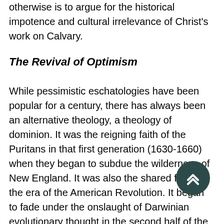otherwise is to argue for the historical impotence and cultural irrelevance of Christ's work on Calvary.
The Revival of Optimism
While pessimistic eschatologies have been popular for a century, there has always been an alternative theology, a theology of dominion. It was the reigning faith of the Puritans in that first generation (1630-1660) when they began to subdue the wilderness of New England. It was also the shared faith in the era of the American Revolution. It began to fade under the onslaught of Darwinian evolutionary thought in the second half of the nineteenth century. It almost completely disappeared after World War I, but it is rapidly returning today. David Chilton's books on eschatology are now the primary manifestos in this revival of theological optimism.